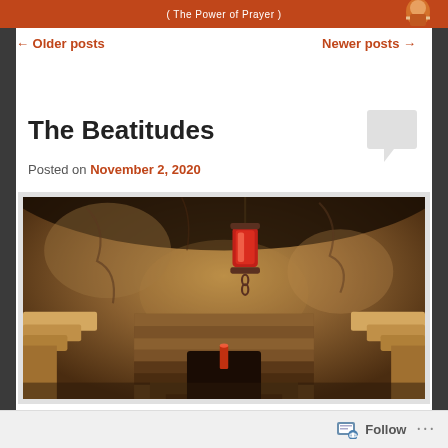( The Power of Prayer )
← Older posts
Newer posts →
The Beatitudes
Posted on November 2, 2020
[Figure (photo): Interior of a stone cave or chapel with rough stone walls and ceiling, a red hanging lantern suspended from above, and a stepped stone altar or tomb structure in the center foreground. The lighting is warm and dim, giving an ancient sacred atmosphere.]
Follow